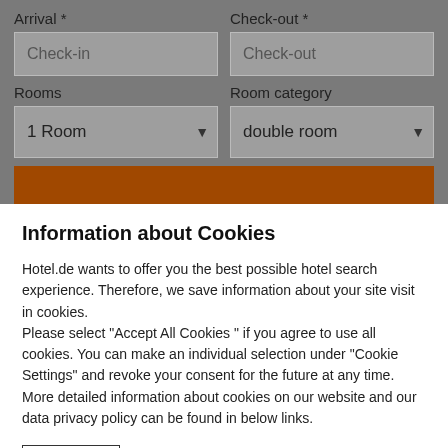Arrival *
Check-in
Check-out *
Check-out
Rooms
1 Room
Room category
double room
Information about Cookies
Hotel.de wants to offer you the best possible hotel search experience. Therefore, we save information about your site visit in cookies.
Please select "Accept All Cookies " if you agree to use all cookies. You can make an individual selection under "Cookie Settings" and revoke your consent for the future at any time. More detailed information about cookies on our website and our data privacy policy can be found in below links.
Cookie Policy | Data Protection & Security | Imprint